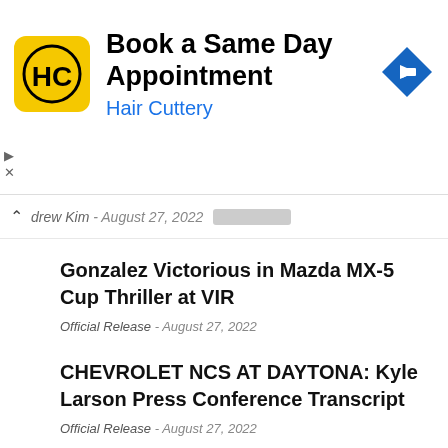[Figure (other): Hair Cuttery advertisement banner with yellow HC logo, 'Book a Same Day Appointment' text, 'Hair Cuttery' subtitle in blue, and a blue navigation arrow icon on the right]
drew Kim - August 27, 2022
Gonzalez Victorious in Mazda MX-5 Cup Thriller at VIR
Official Release - August 27, 2022
CHEVROLET NCS AT DAYTONA: Kyle Larson Press Conference Transcript
Official Release - August 27, 2022
Toyota NCS Daytona Quotes — Kyle Busch 8.27.22
Official Release - August 27, 2022